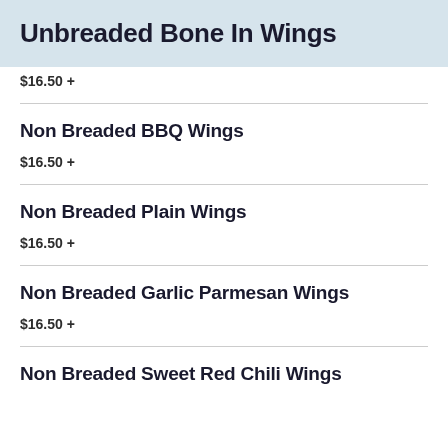Unbreaded Bone In Wings
$16.50 +
Non Breaded BBQ Wings
$16.50 +
Non Breaded Plain Wings
$16.50 +
Non Breaded Garlic Parmesan Wings
$16.50 +
Non Breaded Sweet Red Chili Wings